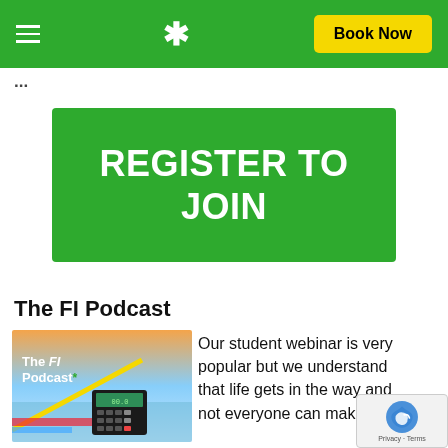Navigation bar with hamburger menu, snowflake logo, and Book Now button
...partial heading text (cropped)
REGISTER TO JOIN
The FI Podcast
[Figure (photo): The FI Podcast logo image showing a calculator and colorful background with text 'The FI Podcast*']
Our student webinar is very popular but we understand that life gets in the way and not everyone can make it,